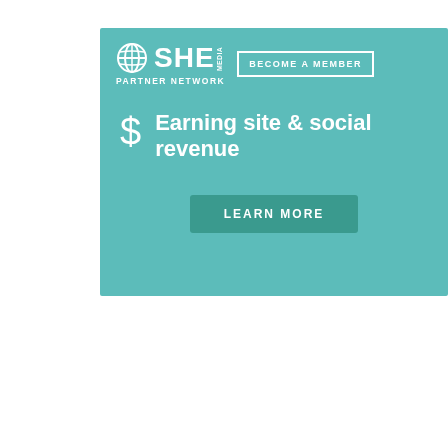[Figure (screenshot): SHE Media Partner Network advertisement banner in teal/turquoise color. Shows SHE Media logo with globe icon, 'BECOME A MEMBER' button, dollar sign icon, text 'Earning site & social revenue', and 'LEARN MORE' button.]
[Figure (screenshot): Embedded tweet from Francella Perez (@FrancellaKUSI) with Follow link and Twitter bird logo. Tweet text reads: NOAA/NASA's GOES 16 weather satellite gets a close-up view of the eye of #HurricaneMaria]